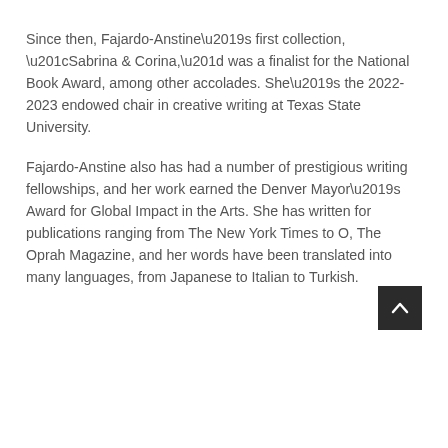Since then, Fajardo-Anstine’s first collection, “Sabrina & Corina,” was a finalist for the National Book Award, among other accolades. She’s the 2022-2023 endowed chair in creative writing at Texas State University.
Fajardo-Anstine also has had a number of prestigious writing fellowships, and her work earned the Denver Mayor’s Award for Global Impact in the Arts. She has written for publications ranging from The New York Times to O, The Oprah Magazine, and her words have been translated into many languages, from Japanese to Italian to Turkish.
[Figure (other): A dark square scroll-to-top button with a white upward-pointing chevron arrow icon]